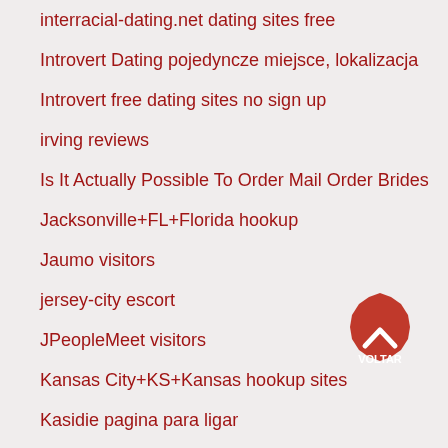interracial-dating.net dating sites free
Introvert Dating pojedyncze miejsce, lokalizacja
Introvert free dating sites no sign up
irving reviews
Is It Actually Possible To Order Mail Order Brides
Jacksonville+FL+Florida hookup
Jaumo visitors
jersey-city escort
JPeopleMeet visitors
Kansas City+KS+Kansas hookup sites
Kasidie pagina para ligar
Kelowna+Canada hookup sites
Kelowna+Canada review
kenyancupid szukaj wedlug nazwy